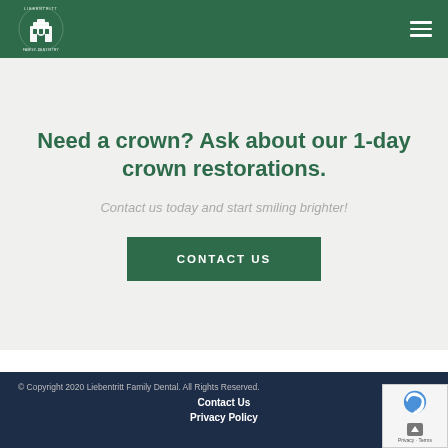[Figure (logo): Liebentritt Family Dentistry logo — white building/tooth icon with circular text on dark green background]
Need a crown? Ask about our 1-day crown restorations.
Contact us today and start smiling brighter!
CONTACT US
© Copyright 2020 Liebentritt Family Dental. All Rights Reserved.
Contact Us
Privacy Policy